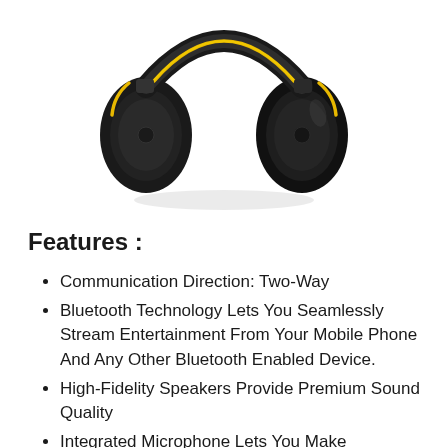[Figure (photo): Black and yellow over-ear hearing protection earmuffs/headphones viewed from the front-side angle, showing the adjustable headband with yellow accents and large black ear cups.]
Features :
Communication Direction: Two-Way
Bluetooth Technology Lets You Seamlessly Stream Entertainment From Your Mobile Phone And Any Other Bluetooth Enabled Device.
High-Fidelity Speakers Provide Premium Sound Quality
Integrated Microphone Lets You Make